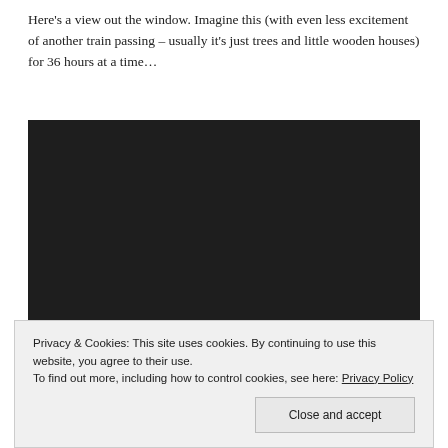Here's a view out the window. Imagine this (with even less excitement of another train passing – usually it's just trees and little wooden houses) for 36 hours at a time...
[Figure (photo): Dark/black rectangular image representing a view out a train window in Siberia]
Privacy & Cookies: This site uses cookies. By continuing to use this website, you agree to their use.
To find out more, including how to control cookies, see here: Privacy Policy
[Close and accept button]